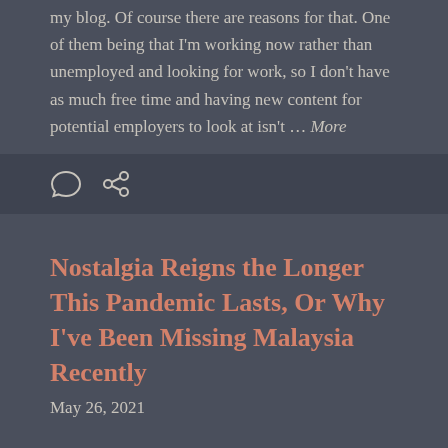my blog. Of course there are reasons for that. One of them being that I'm working now rather than unemployed and looking for work, so I don't have as much free time and having new content for potential employers to look at isn't … More
[Figure (other): Dark bar with comment bubble icon and share/link icon]
Nostalgia Reigns the Longer This Pandemic Lasts, Or Why I've Been Missing Malaysia Recently
May 26, 2021
We're now sitting at over 14 months since the pandemic shut down everything in the San Francisco Bay Area in March 2020. I feel like I've gone through a whole gamut of emotions and experiences since it started. There's been a lot of feeling of